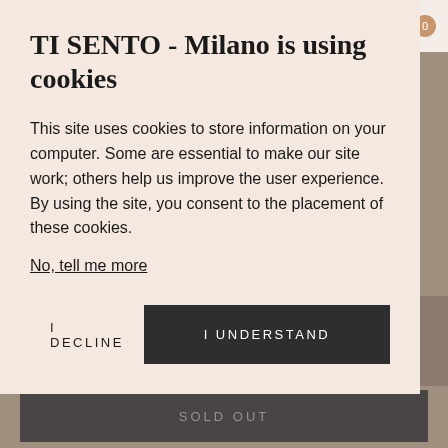TI SENTO - Milano is using cookies
This site uses cookies to store information on your computer. Some are essential to make our site work; others help us improve the user experience. By using the site, you consent to the placement of these cookies.
No, tell me more
I DECLINE
I UNDERSTAND
Need help?
Please contact our Atelier:
SOLD OUT